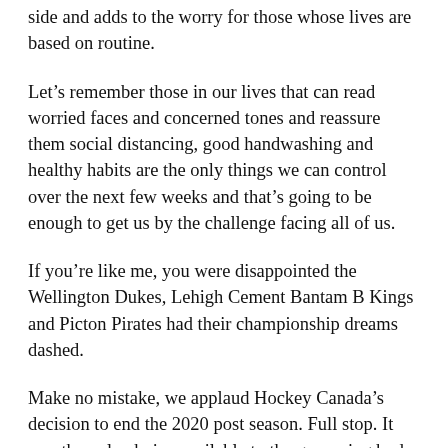side and adds to the worry for those whose lives are based on routine.
Let’s remember those in our lives that can read worried faces and concerned tones and reassure them social distancing, good handwashing and healthy habits are the only things we can control over the next few weeks and that’s going to be enough to get us by the challenge facing all of us.
If you’re like me, you were disappointed the Wellington Dukes, Lehigh Cement Bantam B Kings and Picton Pirates had their championship dreams dashed.
Make no mistake, we applaud Hockey Canada’s decision to end the 2020 post season. Full stop. It was the only choice available to the governing body of the sport in our country and the Gazette is thankful the umbrella organization made the choice not to play this past weekend. In light of how the news cycle is changing every day and conditions are growing more dire, it is painfully obvious there was no alternative to